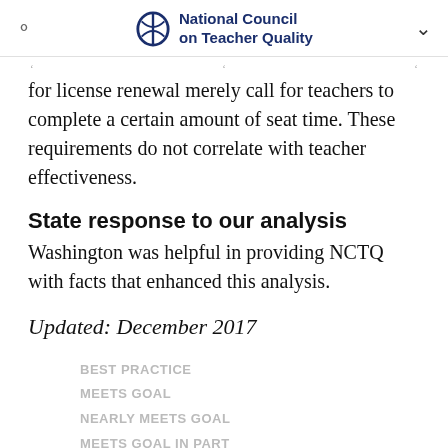National Council on Teacher Quality
for license renewal merely call for teachers to complete a certain amount of seat time. These requirements do not correlate with teacher effectiveness.
State response to our analysis
Washington was helpful in providing NCTQ with facts that enhanced this analysis.
Updated: December 2017
BEST PRACTICE
MEETS GOAL
NEARLY MEETS GOAL
MEETS GOAL IN PART